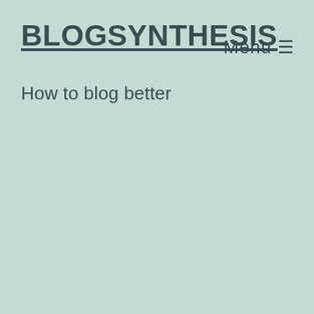BLOGSYNTHESIS
Menu ☰
How to blog better